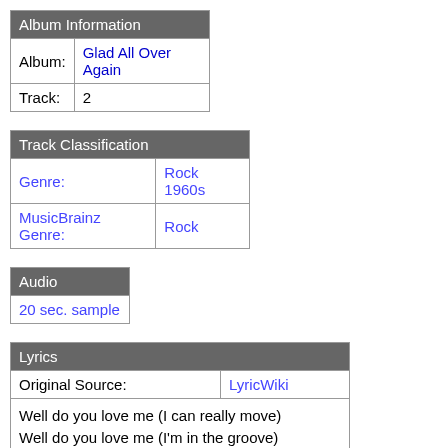| Album Information |
| --- |
| Album: | Glad All Over Again |
| Track: | 2 |
| Track Classification |
| --- |
| Genre: | Rock 1960s |
| MusicBrainz Genre: | Rock |
| Audio |
| --- |
| 20 sec. sample |
| Lyrics |
| --- |
| Original Source: | LyricWiki |
| Well do you love me (I can really move)
Well do you love me (I'm in the groove)
Ah do you love me (do you love me)
Now that I can dance

Watch me now, oh
(work it all) I said-a work it all baby
(work it all) ah, you're drivin' me crazy
(work it all) a-with a little bit of soul now |  |